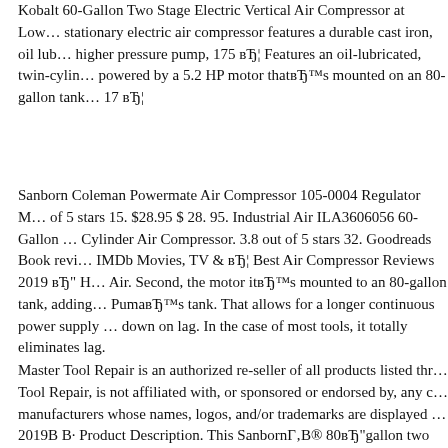Kobalt 60-Gallon Two Stage Electric Vertical Air Compressor at Low… stationary electric air compressor features a durable cast iron, oil lub… higher pressure pump, 175 вЂ¦ Features an oil-lubricated, twin-cylin… powered by a 5.2 HP motor thatвЂ™s mounted on an 80-gallon tank… 17 вЂ¦
Sanborn Coleman Powermate Air Compressor 105-0004 Regulator M… of 5 stars 15. $28.95 $ 28. 95. Industrial Air ILA3606056 60-Gallon … Cylinder Air Compressor. 3.8 out of 5 stars 32. Goodreads Book revi… IMDb Movies, TV & вЂ¦ Best Air Compressor Reviews 2019 вЂ" H… Air. Second, the motor itвЂ™s mounted to an 80-gallon tank, adding… PumaвЂ™s tank. That allows for a longer continuous power supply … down on lag. In the case of most tools, it totally eliminates lag.
Master Tool Repair is an authorized re-seller of all products listed thr… Tool Repair, is not affiliated with, or sponsored or endorsed by, any c… manufacturers whose names, logos, and/or trademarks are displayed … 2019В В· Product Description. This SanbornГ‚В® 80вЂ"gallon two … features an impressive maximum pressure of 175 PSI, which provide… SanbornГ‚В® 80вЂ"gallon two-stage air compressor features an im…